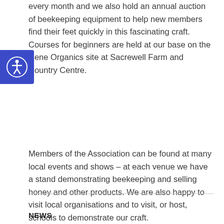every month and we also hold an annual auction of beekeeping equipment to help new members find their feet quickly in this fascinating craft. Courses for beginners are held at our base on the Nene Organics site at Sacrewell Farm and Country Centre.
Members of the Association can be found at many local events and shows – at each venue we have a stand demonstrating beekeeping and selling honey and other products. We are also happy to visit local organisations and to visit, or host, schools to demonstrate our craft.
NEWS